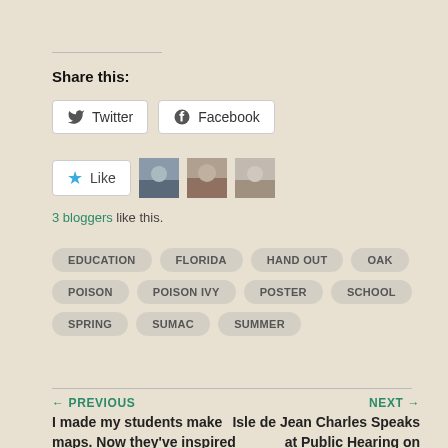Share this:
[Figure (screenshot): Twitter and Facebook share buttons]
[Figure (screenshot): Like button with star icon and 3 blogger avatars]
3 bloggers like this.
EDUCATION
FLORIDA
HAND OUT
OAK
POISON
POISON IVY
POSTER
SCHOOL
SPRING
SUMAC
SUMMER
← PREVIOUS
I made my students make maps. Now they've inspired
NEXT →
Isle de Jean Charles Speaks at Public Hearing on